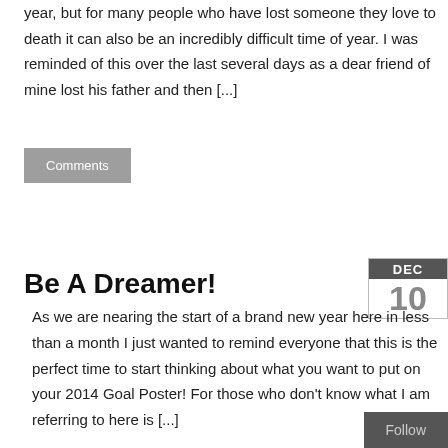year, but for many people who have lost someone they love to death it can also be an incredibly difficult time of year. I was reminded of this over the last several days as a dear friend of mine lost his father and then [...]
Comments
Be A Dreamer!
As we are nearing the start of a brand new year here in less than a month I just wanted to remind everyone that this is the perfect time to start thinking about what you want to put on your 2014 Goal Poster!  For those who don't know what I am referring to here is [...]
DEC 10
Follow